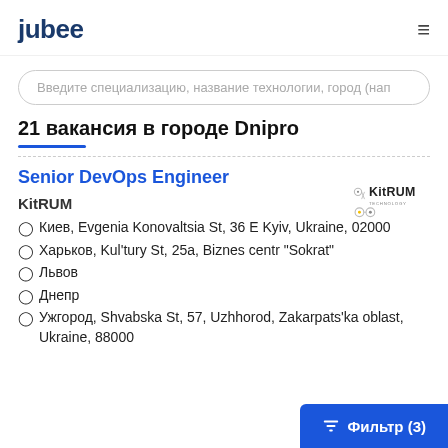jubee
Введите специализацию, название технологии, город (нап
21 вакансия в городе Dnipro
Senior DevOps Engineer
KitRUM
Киев, Evgenia Konovaltsia St, 36 E Kyiv, Ukraine, 02000
Харьков, Kul'tury St, 25a, Biznes centr "Sokrat"
Львов
Днепр
Ужгород, Shvabska St, 57, Uzhhorod, Zakarpats'ka oblast, Ukraine, 88000